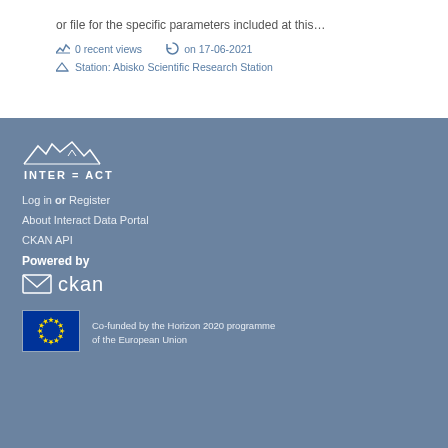or file for the specific parameters included at this…
0 recent views   on 17-06-2021
Station: Abisko Scientific Research Station
[Figure (logo): INTERACT logo with mountain silhouette and INTER = ACT text]
Log in  or  Register
About Interact Data Portal
CKAN API
Powered by
[Figure (logo): CKAN logo with envelope icon and ckan text]
[Figure (logo): EU flag - blue with yellow stars circle]
Co-funded by the Horizon 2020 programme of the European Union